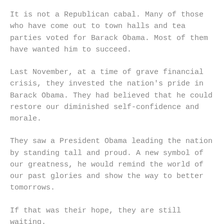It is not a Republican cabal. Many of those who have come out to town halls and tea parties voted for Barack Obama. Most of them have wanted him to succeed.
Last November, at a time of grave financial crisis, they invested the nation's pride in Barack Obama. They had believed that he could restore our diminished self-confidence and morale.
They saw a President Obama leading the nation by standing tall and proud. A new symbol of our greatness, he would remind the world of our past glories and show the way to better tomorrows.
If that was their hope, they are still waiting.